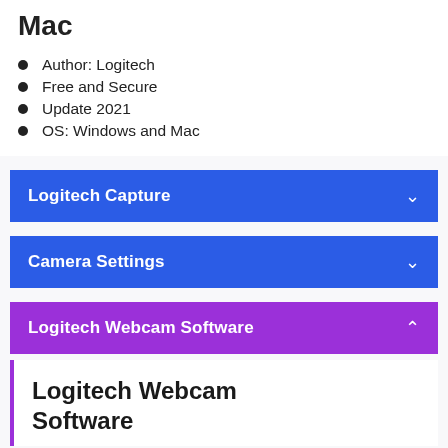Mac
Author: Logitech
Free and Secure
Update 2021
OS: Windows and Mac
Logitech Capture
Camera Settings
Logitech Webcam Software
Logitech Webcam Software